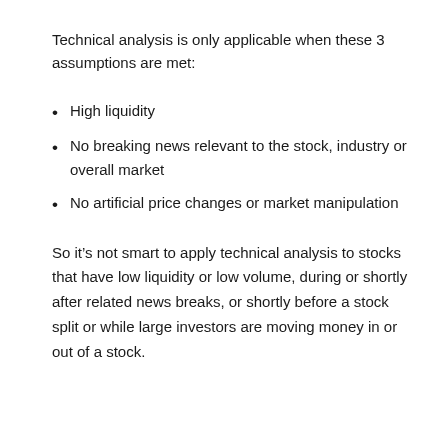Technical analysis is only applicable when these 3 assumptions are met:
High liquidity
No breaking news relevant to the stock, industry or overall market
No artificial price changes or market manipulation
So it’s not smart to apply technical analysis to stocks that have low liquidity or low volume, during or shortly after related news breaks, or shortly before a stock split or while large investors are moving money in or out of a stock.